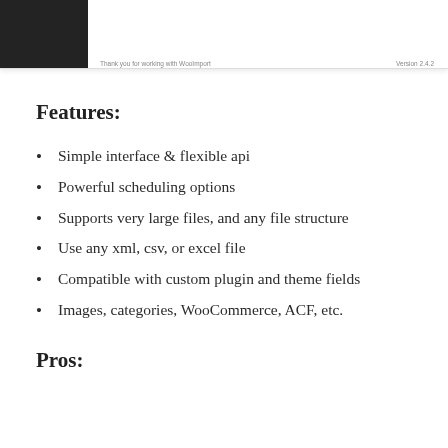Thank you for working with WooImport   Version 2.4.2
Features:
Simple interface & flexible api
Powerful scheduling options
Supports very large files, and any file structure
Use any xml, csv, or excel file
Compatible with custom plugin and theme fields
Images, categories, WooCommerce, ACF, etc.
Pros: